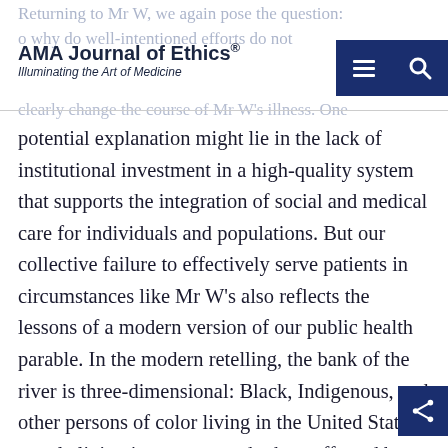AMA Journal of Ethics® — Illuminating the Art of Medicine
potential explanation might lie in the lack of institutional investment in a high-quality system that supports the integration of social and medical care for individuals and populations. But our collective failure to effectively serve patients in circumstances like Mr W's also reflects the lessons of a modern version of our public health parable. In the modern retelling, the bank of the river is three-dimensional: Black, Indigenous, and other persons of color living in the United States, people living in poverty, and others affected by structural and systemic racism are forced to stand closer to the edge of the river than other groups of people, thereby disproportionately increasing their initial risk of falling into the water.